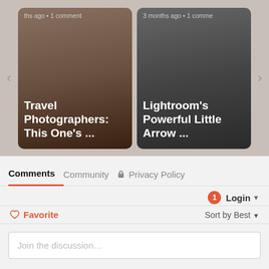[Figure (screenshot): Top image strip with two article cards. Left card shows 'Travel Photographers: This One's ...' with meta '3 months ago • 1 comment'. Right card shows 'Lightroom's Powerful Little Arrow ...' with meta '3 months ago • 1 comment'. Navigation arrows on left and right.]
Comments	Community	🔒 Privacy Policy
1  Login ▼
♡ Favorite	Sort by Best ▼
Join the discussion…
LOG IN WITH
[Figure (infographic): Four social login icons: Disqus (blue D), Facebook (dark blue F), Twitter (light blue bird), Google (red G)]
OR SIGN UP WITH DISQUS (?)
Name